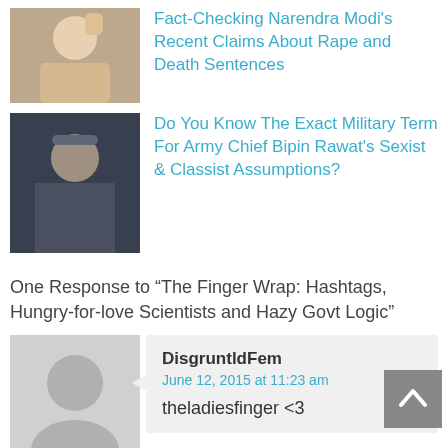[Figure (photo): Thumbnail photo of Narendra Modi speaking at a podium]
Fact-Checking Narendra Modi's Recent Claims About Rape and Death Sentences
[Figure (photo): Thumbnail photo of Army Chief Bipin Rawat in military uniform]
Do You Know The Exact Military Term For Army Chief Bipin Rawat's Sexist & Classist Assumptions?
One Response to “The Finger Wrap: Hashtags, Hungry-for-love Scientists and Hazy Govt Logic”
[Figure (illustration): Default grey avatar silhouette placeholder for commenter]
Reply
DisgruntldFem
June 12, 2015 at 11:23 am
theladiesfinger <3
Leave a Reply